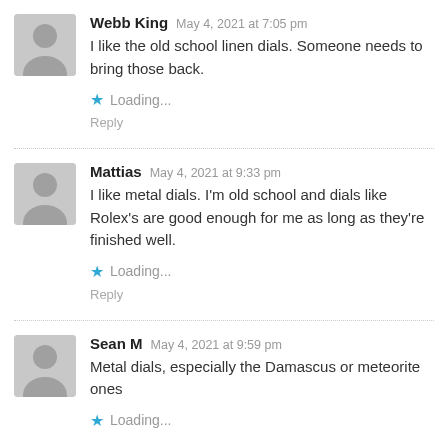Webb King   May 4, 2021 at 7:05 pm
I like the old school linen dials. Someone needs to bring those back.
★ Loading...
Reply
Mattias   May 4, 2021 at 9:33 pm
I like metal dials. I'm old school and dials like Rolex's are good enough for me as long as they're finished well.
★ Loading...
Reply
Sean M   May 4, 2021 at 9:59 pm
Metal dials, especially the Damascus or meteorite ones
★ Loading...